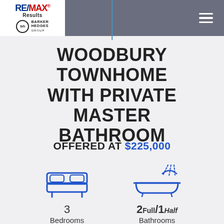RE/MAX Results | Barker Hedges Group
WOODBURY TOWNHOME WITH PRIVATE MASTER BATHROOM
OFFERED AT $225,000
[Figure (illustration): Bed icon - 3 Bedrooms]
3 Bedrooms
[Figure (illustration): Bathtub with shower icon - 2 Full / 1 Half Bathrooms]
2Full/1Half Bathrooms